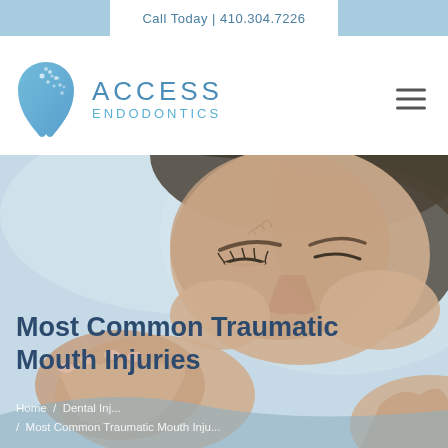Call Today | 410.304.7226
[Figure (logo): Access Endodontics logo with tooth icon and text ACCESS ENDODONTICS]
[Figure (photo): Woman in pain holding her face/jaw with eyes closed, representing dental/mouth injury]
Most Common Traumatic Mouth Injuries
Home / Dental Injuries / Most Common Traumatic Mouth Injuries